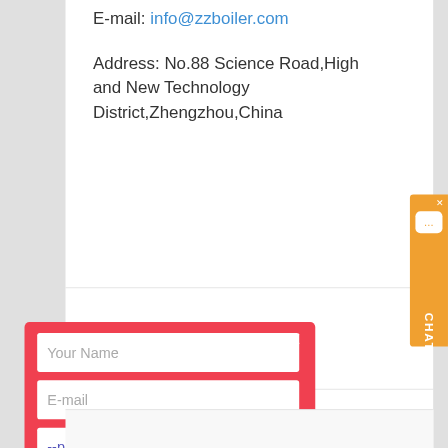E-mail: info@zzboiler.com
Address: No.88 Science Road,High and New Technology District,Zhengzhou,China
[Figure (screenshot): A contact form modal overlay on a red background with fields: Your Name, E-mail, product select dropdown showing '--please select product--', capacity field, a gray 'More information' button, and a white Submit button. An X close button is at top right. Behind the modal, blue link text partially visible: 'Biomass boiler', 'coal fired boiler', 'Oil fired gas fired boiler'.]
[Figure (other): Orange CHAT tab on right side with speech bubble icon and X button]